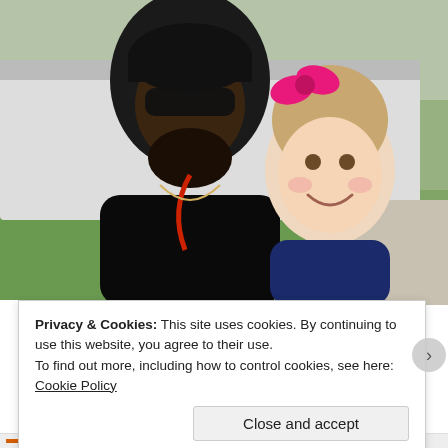[Figure (photo): A man wearing a black cap and sunglasses smiling with a young girl with blonde hair wearing a pink bow, outdoors near a white vehicle with green grass and trees in the background.]
Privacy & Cookies: This site uses cookies. By continuing to use this website, you agree to their use.
To find out more, including how to control cookies, see here: Cookie Policy
Close and accept